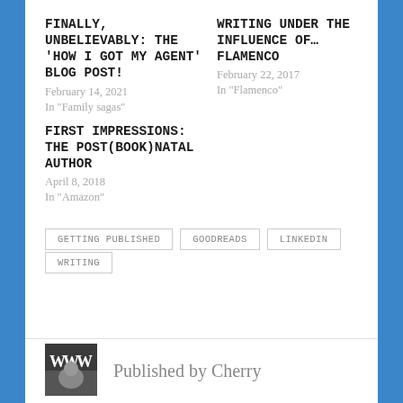FINALLY, UNBELIEVABLY: THE ‘HOW I GOT MY AGENT’ BLOG POST!
February 14, 2021
In "Family sagas"
WRITING UNDER THE INFLUENCE OF… FLAMENCO
February 22, 2017
In "Flamenco"
FIRST IMPRESSIONS: THE POST(BOOK)NATAL AUTHOR
April 8, 2018
In "Amazon"
GETTING PUBLISHED
GOODREADS
LINKEDIN
WRITING
Published by Cherry